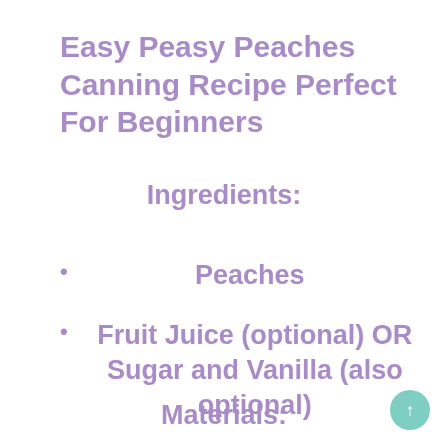Easy Peasy Peaches Canning Recipe Perfect For Beginners
Ingredients:
Peaches
Fruit Juice (optional) OR Sugar and Vanilla (also optional)
Materials: